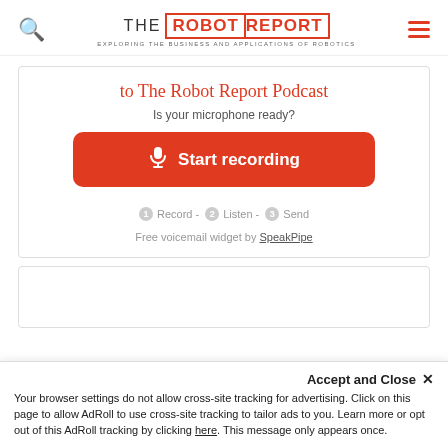THE ROBOT REPORT — EXPLORING THE BUSINESS AND APPLICATIONS OF ROBOTICS
to The Robot Report Podcast
Is your microphone ready?
[Figure (other): Orange rounded button with microphone icon and text 'Start recording']
1 Record - 2 Listen - 3 Send
Free voicemail widget by SpeakPipe
Accept and Close ✕
Your browser settings do not allow cross-site tracking for advertising. Click on this page to allow AdRoll to use cross-site tracking to tailor ads to you. Learn more or opt out of this AdRoll tracking by clicking here. This message only appears once.